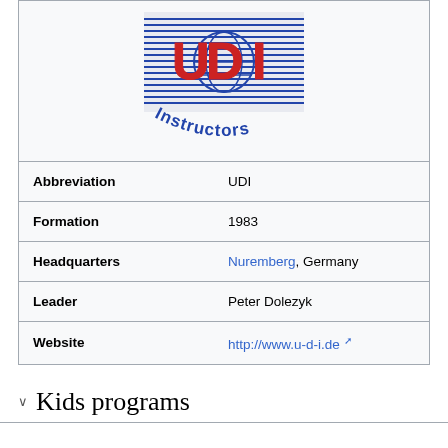[Figure (logo): UDI Instructors logo — red stylized letters UDI on a blue lined background with a globe, and the word 'Instructors' in blue arched text below]
| Abbreviation | UDI |
| Formation | 1983 |
| Headquarters | Nuremberg, Germany |
| Leader | Peter Dolezyk |
| Website | http://www.u-d-i.de |
Kids programs